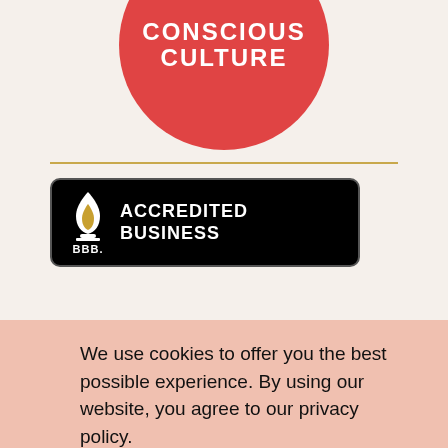[Figure (logo): Conscious Culture red circle logo partially cropped at top, showing 'CONSCIOUS CULTURE' text in white on red circle background]
[Figure (logo): BBB Accredited Business badge with black background, flame logo on left, 'ACCREDITED BUSINESS' text on right, and 'Rating: A' below with gold underline]
We use cookies to offer you the best possible experience. By using our website, you agree to our privacy policy.
Learn more
Got it!